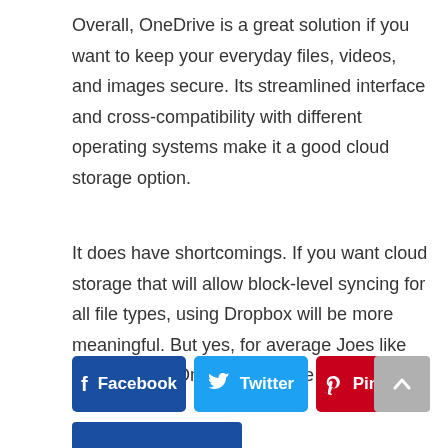Overall, OneDrive is a great solution if you want to keep your everyday files, videos, and images secure. Its streamlined interface and cross-compatibility with different operating systems make it a good cloud storage option.
It does have shortcomings. If you want cloud storage that will allow block-level syncing for all file types, using Dropbox will be more meaningful. But yes, for average Joes like you and me, OneDrive is quite good!